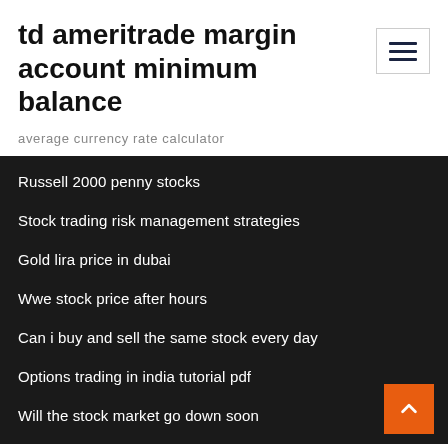td ameritrade margin account minimum balance
average currency rate calculator
Russell 2000 penny stocks
Stock trading risk management strategies
Gold lira price in dubai
Wwe stock price after hours
Can i buy and sell the same stock every day
Options trading in india tutorial pdf
Will the stock market go down soon
Can you buy single shares of stock